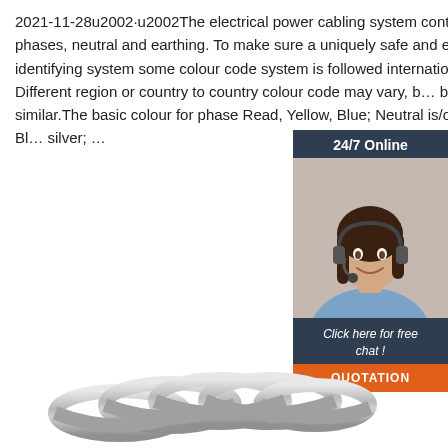2021-11-28u2002·u2002The electrical power cabling system contains phases, neutral and earthing. To make sure a uniquely safe and easy identifying system some colour code system is followed internationally. Different region or country to country colour code may vary, but basic is similar.The basic colour for phase Read, Yellow, Blue; Neutral is/or Black, Blu silver; ...
[Figure (photo): Customer service representative woman with headset, 24/7 Online chat widget with dark blue background, photo of smiling woman, and QUOTATION orange button]
[Figure (photo): Coiled metallic cable or wire coil at the bottom of the page]